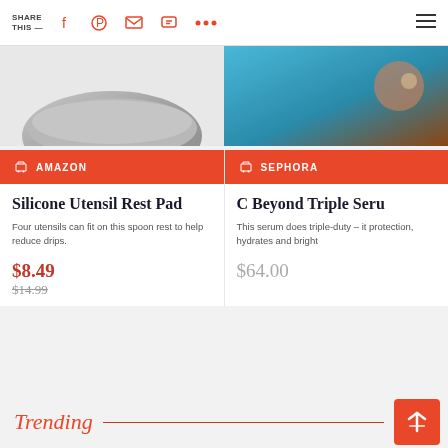SHARE THIS —   [Facebook] [Pinterest] [Email] [Chat] [...] [Menu]
[Figure (photo): Top portion of silicone utensil rest pad on gray background]
[Figure (photo): Top portion of beauty product on teal background with skin]
AMAZON
Silicone Utensil Rest Pad
Four utensils can fit on this spoon rest to help reduce drips.
$8.49
$14.99
SEPHORA
C Beyond Triple Seru
This serum does triple-duty – it protection, hydrates and bright
$64.00
Trending